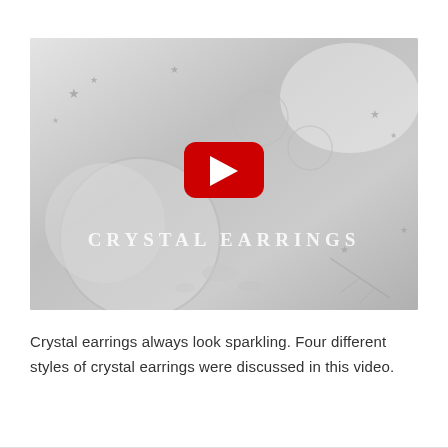[Figure (screenshot): YouTube video thumbnail showing crystal earrings arranged on a white decorative plate with moon and star patterns. Text overlay reads 'CRYSTAL EARRINGS' with a red YouTube play button in the center.]
Crystal earrings always look sparkling. Four different styles of crystal earrings were discussed in this video.